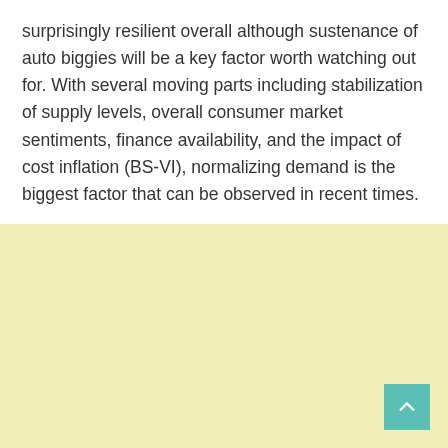surprisingly resilient overall although sustenance of auto biggies will be a key factor worth watching out for. With several moving parts including stabilization of supply levels, overall consumer market sentiments, finance availability, and the impact of cost inflation (BS-VI), normalizing demand is the biggest factor that can be observed in recent times.